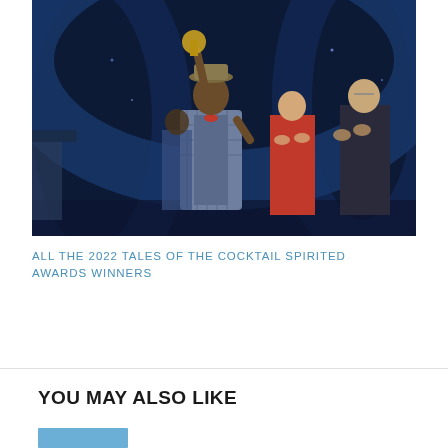[Figure (photo): Award ceremony photo showing a man in a plaid suit and hat raising a trophy/award with one hand raised, standing on a stage with blue lighting. Behind him are several people including a woman in a red dress clapping. Dark blue stage background.]
ALL THE 2022 TALES OF THE COCKTAIL SPIRITED AWARDS WINNERS
YOU MAY ALSO LIKE